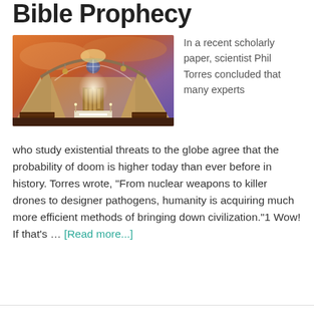Bible Prophecy
[Figure (photo): Interior of a grand cathedral church with warm orange/purple sky visible, chandeliers and pipe organ, altar area lit brightly]
In a recent scholarly paper, scientist Phil Torres concluded that many experts
who study existential threats to the globe agree that the probability of doom is higher today than ever before in history. Torres wrote, "From nuclear weapons to killer drones to designer pathogens, humanity is acquiring much more efficient methods of bringing down civilization."1 Wow! If that's … [Read more...]